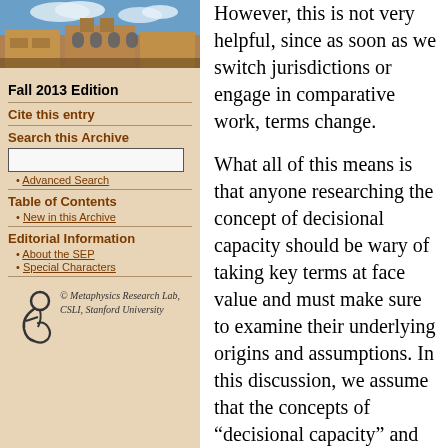[Figure (photo): Photograph of a historic university building (stone architecture with arched windows) against a blue sky with clouds]
Fall 2013 Edition
Cite this entry
Search this Archive
Advanced Search
Table of Contents
New in this Archive
Editorial Information
About the SEP
Special Characters
[Figure (logo): Metaphysics Research Lab logo — stylized figure with circular element]
© Metaphysics Research Lab, CSLI, Stanford University
However, this is not very helpful, since as soon as we switch jurisdictions or engage in comparative work, terms change.
What all of this means is that anyone researching the concept of decisional capacity should be wary of taking key terms at face value and must make sure to examine their underlying origins and assumptions. In this discussion, we assume that the concepts of “decisional capacity” and “mental competence” are interchangeable, unless specified otherwise. However, in the name of simplicity and consistency, we use the